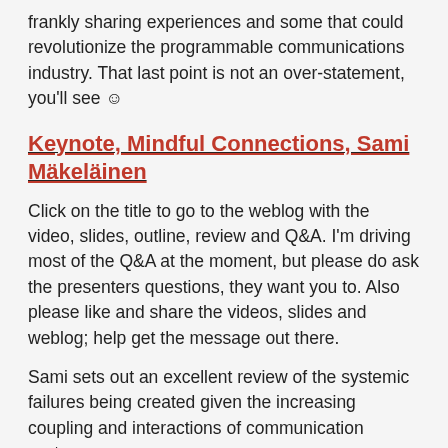frankly sharing experiences and some that could revolutionize the programmable communications industry. That last point is not an over-statement, you'll see ☺
Keynote, Mindful Connections, Sami Mäkeläinen
Click on the title to go to the weblog with the video, slides, outline, review and Q&A. I'm driving most of the Q&A at the moment, but please do ask the presenters questions, they want you to. Also please like and share the videos, slides and weblog; help get the message out there.
Sami sets out an excellent review of the systemic failures being created given the increasing coupling and interactions of communication systems.
He leaves us with 3 actionable steps: